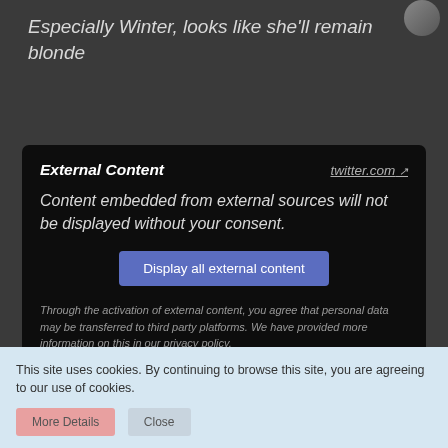Especially Winter, looks like she'll remain blonde
[Figure (screenshot): External Content box with twitter.com link, 'Content embedded from external sources will not be displayed without your consent.' message, 'Display all external content' button, and privacy policy note]
They should defo leave her dye to fade out and let her go back to black cause she just looks
This site uses cookies. By continuing to browse this site, you are agreeing to our use of cookies.
More Details   Close